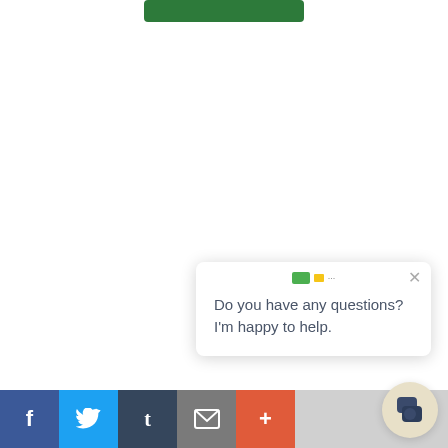[Figure (screenshot): Green button at the top of a white webpage area]
[Figure (screenshot): Chat popup widget with logo, close button, and message text reading 'Do you have any questions? I'm happy to help.']
Do you have any questions? I'm happy to help.
[Figure (infographic): Social sharing bar with Facebook, Twitter, Tumblr, Email, and Plus buttons]
[Figure (screenshot): Chat bubble icon button in beige/cream circle at bottom right]